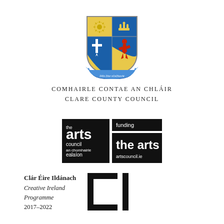[Figure (logo): Clare County Council coat of arms / heraldic shield with blue, gold and red quarters, motto ribbon reading 'Dílis Díor nOsDiorcht']
COMHAIRLE CONTAE AN CHLÁIR
CLARE COUNTY COUNCIL
[Figure (logo): The Arts Council / An Chomhairle Ealaíon logo in black with white text, alongside 'funding the arts artscouncil.ie' panel]
[Figure (logo): Creative Ireland Programme CI bracket logo in black]
Clár Éire Ildánach
Creative Ireland
Programme
2017–2022